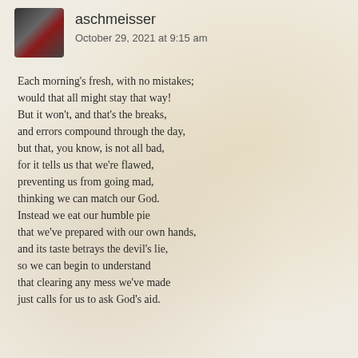aschmeisser
October 29, 2021 at 9:15 am
Each morning's fresh, with no mistakes;
would that all might stay that way!
But it won't, and that's the breaks,
and errors compound through the day,
but that, you know, is not all bad,
for it tells us that we're flawed,
preventing us from going mad,
thinking we can match our God.
Instead we eat our humble pie
that we've prepared with our own hands,
and its taste betrays the devil's lie,
so we can begin to understand
that clearing any mess we've made
just calls for us to ask God's aid.